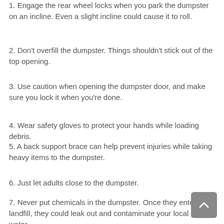1. Engage the rear wheel locks when you park the dumpster on an incline. Even a slight incline could cause it to roll.
2. Don't overfill the dumpster. Things shouldn't stick out of the top opening.
3. Use caution when opening the dumpster door, and make sure you lock it when you're done.
4. Wear safety gloves to protect your hands while loading debris.
5. A back support brace can help prevent injuries while taking heavy items to the dumpster.
6. Just let adults close to the dumpster.
7. Never put chemicals in the dumpster. Once they enter the landfill, they could leak out and contaminate your local ground water.
8. [partially visible]